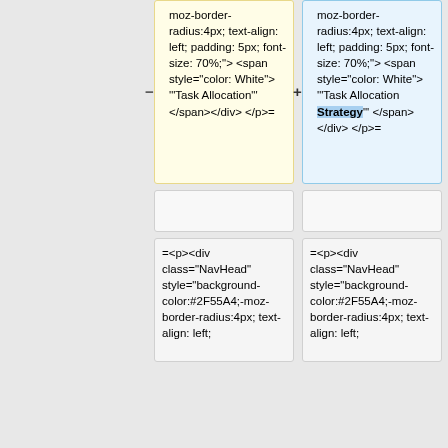moz-border-radius:4px; text-align: left; padding: 5px; font-size: 70%;"> <span style="color: White"> '"Task Allocation"' </span></div> </p>=
moz-border-radius:4px; text-align: left; padding: 5px; font-size: 70%;"> <span style="color: White"> '"Task Allocation Strategy"' </span></div> </p>=
=<p><div class="NavHead" style="background-color:#2F55A4;-moz-border-radius:4px; text-align: left;
=<p><div class="NavHead" style="background-color:#2F55A4;-moz-border-radius:4px; text-align: left;